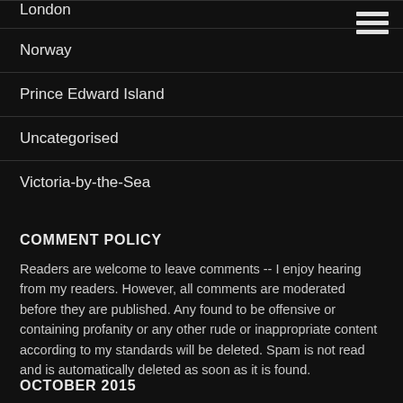London
Norway
Prince Edward Island
Uncategorised
Victoria-by-the-Sea
COMMENT POLICY
Readers are welcome to leave comments -- I enjoy hearing from my readers. However, all comments are moderated before they are published. Any found to be offensive or containing profanity or any other rude or inappropriate content according to my standards will be deleted. Spam is not read and is automatically deleted as soon as it is found.
OCTOBER 2015